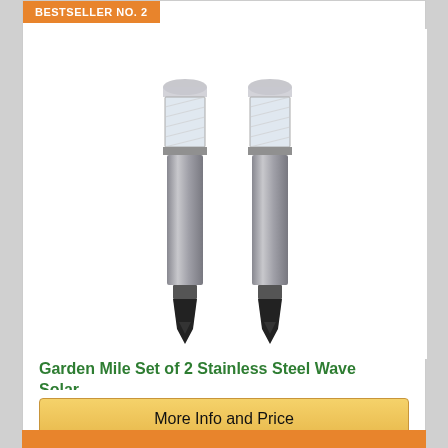BESTSELLER NO. 2
[Figure (photo): Two stainless steel solar garden stake lights with clear crystal-style tops and black pointed ground stakes]
Garden Mile Set of 2 Stainless Steel Wave Solar...
★★★★½ (4)
More Info and Price